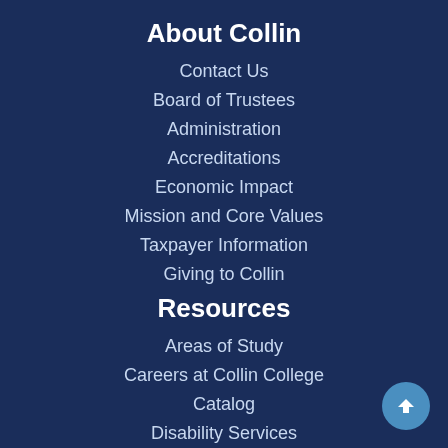About Collin
Contact Us
Board of Trustees
Administration
Accreditations
Economic Impact
Mission and Core Values
Taxpayer Information
Giving to Collin
Resources
Areas of Study
Careers at Collin College
Catalog
Disability Services